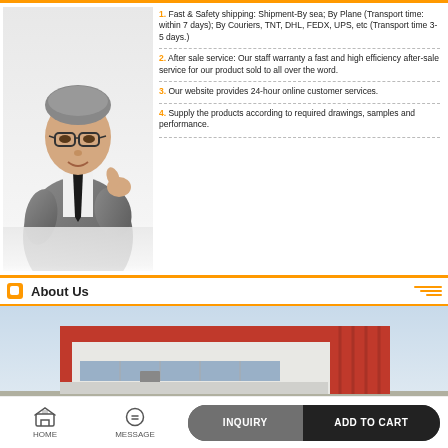[Figure (photo): Businessman in suit giving thumbs up, positioned on the left side of the service items section]
1. Fast & Safety shipping: Shipment-By sea; By Plane (Transport time: within 7 days); By Couriers, TNT, DHL, FEDX, UPS, etc (Transport time 3-5 days.)
2. After sale service: Our staff warranty a fast and high efficiency after-sale service for our product sold to all over the word.
3. Our website provides 24-hour online customer services.
4. Supply the products according to required drawings, samples and performance.
About Us
[Figure (photo): Exterior photo of a large industrial warehouse or factory building with red and white facade]